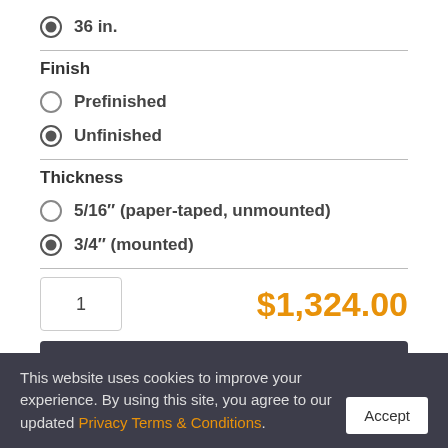36 in. (selected)
Finish
Prefinished (unselected)
Unfinished (selected)
Thickness
5/16" (paper-taped, unmounted) (unselected)
3/4" (mounted) (selected)
1
$1,324.00
Add To Cart
This website uses cookies to improve your experience. By using this site, you agree to our updated Privacy Terms & Conditions.
Accept